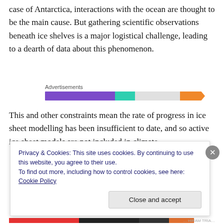case of Antarctica, interactions with the ocean are thought to be the main cause. But gathering scientific observations beneath ice shelves is a major logistical challenge, leading to a dearth of data about this phenomenon.
[Figure (infographic): Advertisements bar showing coloured progress/loading bar segments: purple, teal, light grey, and orange arrow shape]
This and other constraints mean the rate of progress in ice sheet modelling has been insufficient to date, and so active ice sheet models are not included in climate
Privacy & Cookies: This site uses cookies. By continuing to use this website, you agree to their use.
To find out more, including how to control cookies, see here: Cookie Policy
Close and accept